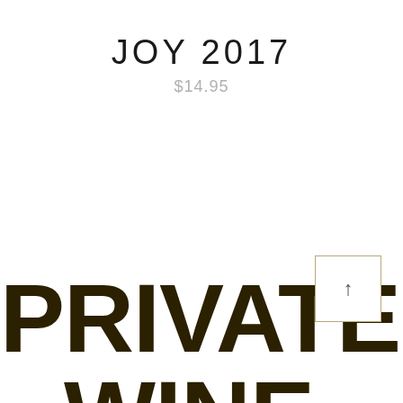JOY 2017
$14.95
PRIVATE WINE LABEL